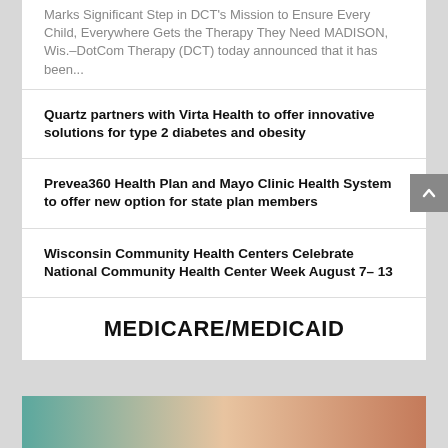Marks Significant Step in DCT's Mission to Ensure Every Child, Everywhere Gets the Therapy They Need MADISON, Wis.–DotCom Therapy (DCT) today announced that it has been...
Quartz partners with Virta Health to offer innovative solutions for type 2 diabetes and obesity
Prevea360 Health Plan and Mayo Clinic Health System to offer new option for state plan members
Wisconsin Community Health Centers Celebrate National Community Health Center Week August 7– 13
MEDICARE/MEDICAID
[Figure (photo): Partial photo strip at the bottom of the page showing blurred faces/people]